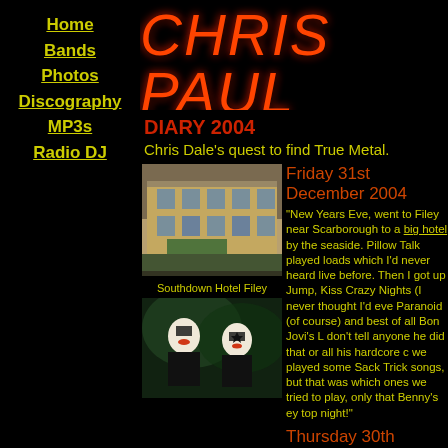Home
Bands
Photos
Discography
MP3s
Radio DJ
CHRIS PAUL iBASSSIST
DIARY 2004
Chris Dale's quest to find True Metal.
[Figure (photo): Southdown Hotel Filey - exterior photo of a large stone building]
Southdown Hotel Filey
[Figure (photo): Two KISS band members in full makeup and costumes on stage with green lighting]
Friday 31st December 2004
"New Years Eve, went to Filey near Scarborough to a big hotel by the seaside. Pillow Talk played loads which I'd never heard live before. Then I got up Jump, Kiss Crazy Nights (I never thought I'd eve Paranoid (of course) and best of all Bon Jovi's L don't tell anyone he did that or all his hardcore c we played some Sack Trick songs, but that was which ones we tried to play, only that Benny's ey top night!"
Thursday 30th December 2004
"Last Total Rock show of the year! I heard a rum Rumour has it they'll be playing London's Hyde defiantly go to the London and German gigs ev